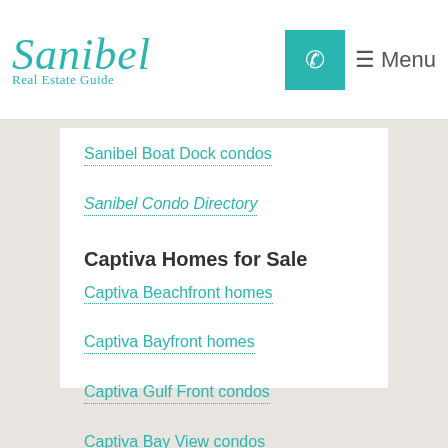Sanibel Real Estate Guide — Menu
Sanibel Boat Dock condos
Sanibel Condo Directory
Captiva Homes for Sale
Captiva Beachfront homes
Captiva Bayfront homes
Captiva Gulf Front condos
Captiva Bay View condos under $4,000,000
$4,000,000 and up